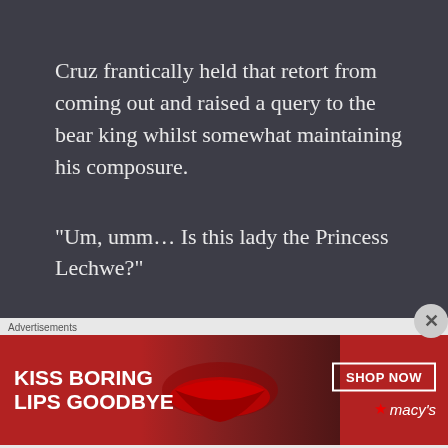Cruz frantically held that retort from coming out and raised a query to the bear king whilst somewhat maintaining his composure.
“Um, umm… Is this lady the Princess Lechwe?”
“Yes, that’s right. She’s lovely and resembles Us, does she not?”
“I – I had wrongly assumed it was the lady who was sitting next to you…”
[Figure (advertisement): Macy's advertisement for lipstick with text 'KISS BORING LIPS GOODBYE' and 'SHOP NOW' button, red background with woman's face showing red lips]